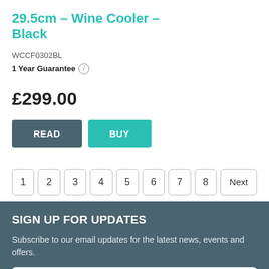29.5cm – Wine Cooler – Black
WCCF0302BL
1 Year Guarantee ℹ
£299.00
READ  BUY
1  2  3  4  5  6  7  8  Next
SIGN UP FOR UPDATES
Subscribe to our email updates for the latest news, events and offers.
Enter your name